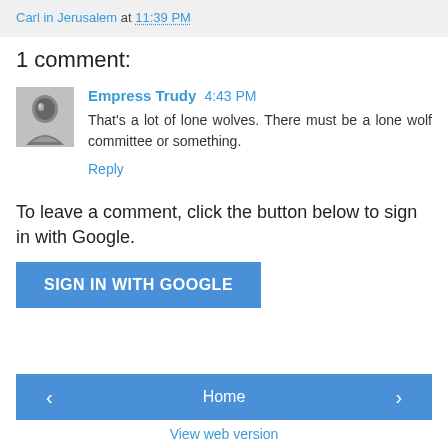Carl in Jerusalem at 11:39 PM
1 comment:
[Figure (photo): Black and white avatar photo of Empress Trudy]
Empress Trudy 4:43 PM
That's a lot of lone wolves. There must be a lone wolf committee or something.
Reply
To leave a comment, click the button below to sign in with Google.
SIGN IN WITH GOOGLE
< Home > View web version